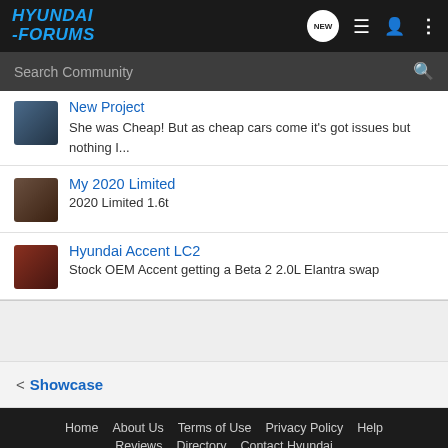HYUNDAI-FORUMS
New Project — She was Cheap! But as cheap cars come it's got issues but nothing I...
My 2020 Limited — 2020 Limited 1.6t
Hyundai Accent LC2 — Stock OEM Accent getting a Beta 2 2.0L Elantra swap
< Showcase
Home   About Us   Terms of Use   Privacy Policy   Help   Reviews   Directory   Contact Hyundai